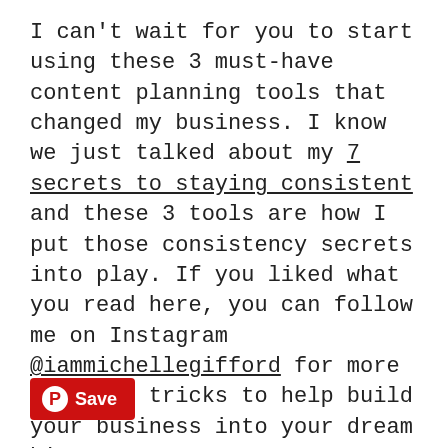I can't wait for you to start using these 3 must-have content planning tools that changed my business. I know we just talked about my 7 secrets to staying consistent and these 3 tools are how I put those consistency secrets into play. If you liked what you read here, you can follow me on Instagram @iammichellegifford for more tips and tricks to help build your business into your dream biz!
[Figure (other): Pinterest Save button — red rounded rectangle with Pinterest logo and 'Save' text in white]